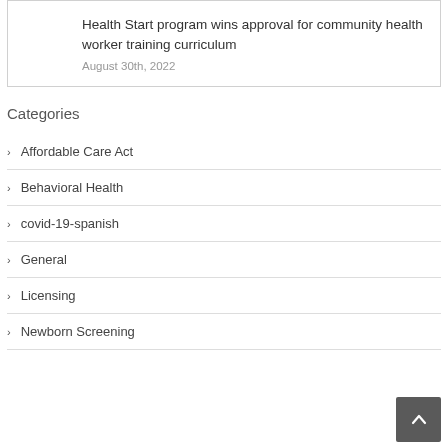Health Start program wins approval for community health worker training curriculum
August 30th, 2022
Categories
Affordable Care Act
Behavioral Health
covid-19-spanish
General
Licensing
Newborn Screening